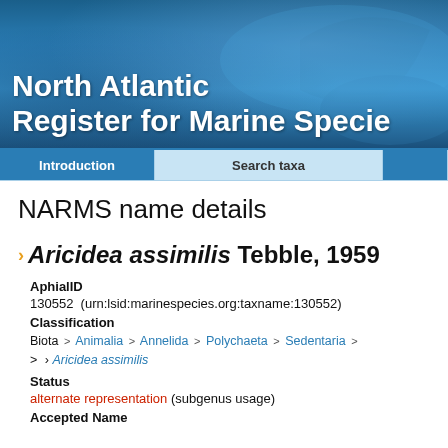[Figure (photo): Header banner with ocean/whale tail photograph and white bold text reading 'North Atlantic Register for Marine Specie' (truncated at right edge)]
Introduction | Search taxa
NARMS name details
Aricidea assimilis Tebble, 1959
AphialID
130552  (urn:lsid:marinespecies.org:taxname:130552)
Classification
Biota > Animalia > Annelida > Polychaeta > Sedentaria > > Aricidea assimilis
Status
alternate representation (subgenus usage)
Accepted Name